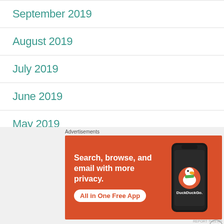September 2019
August 2019
July 2019
June 2019
May 2019
March 2019
February 2019
[Figure (screenshot): DuckDuckGo advertisement banner with orange background showing 'Search, browse, and email with more privacy. All in One Free App' text and a phone mockup with DuckDuckGo logo]